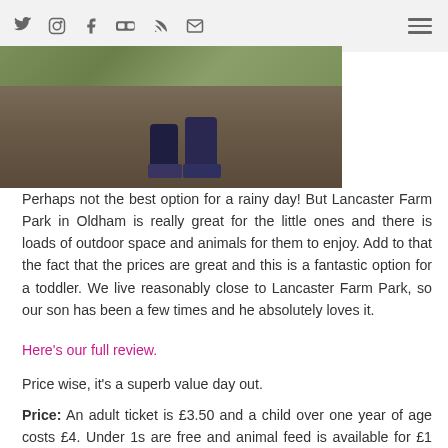Social media icons: Twitter, Instagram, Facebook, Flickr, RSS, Email; Hamburger menu
[Figure (photo): Partial outdoor photo showing grass, ground/path, and legs/feet of a child in dark jeans and trainers]
Perhaps not the best option for a rainy day! But Lancaster Farm Park in Oldham is really great for the little ones and there is loads of outdoor space and animals for them to enjoy. Add to that the fact that the prices are great and this is a fantastic option for a toddler. We live reasonably close to Lancaster Farm Park, so our son has been a few times and he absolutely loves it.
Here's our full review.
Price wise, it's a superb value day out.
Price: An adult ticket is £3.50 and a child over one year of age costs £4. Under 1s are free and animal feed is available for £1 per bucket.
5. HEATON PARK